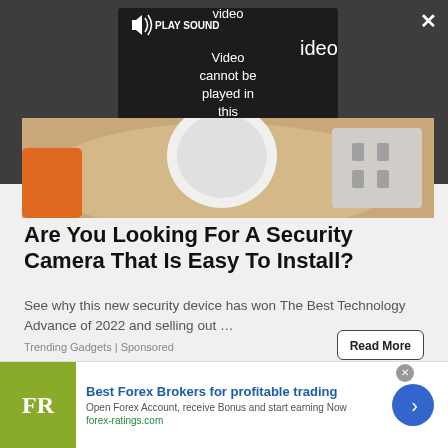[Figure (screenshot): Video player overlay on dark background showing 'PLAY SOUND' button and error message: 'Video cannot be played in this browser. (Error Cod' with close button (X) and expand button in corners]
[Figure (photo): Photo of a hand holding a small white security camera with orange tool and electrical outlet in background]
Are You Looking For A Security Camera That Is Easy To Install?
See why this new security device has won The Best Technology Advance of 2022 and selling out …
Trending Gadgets | Sponsored
[Figure (photo): Partial photo of green trees/foliage from above]
[Figure (infographic): Advertisement banner: FR logo (olive green square), 'Best Forex Brokers for profitable trading', 'Open Forex Account, receive Bonus and start earning Now', 'forex-ratings.com', blue circular arrow button]